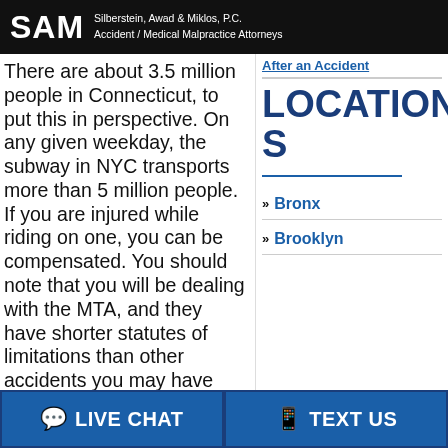SAM Silberstein, Awad & Miklos, P.C. Accident / Medical Malpractice Attorneys
There are about 3.5 million people in Connecticut, to put this in perspective. On any given weekday, the subway in NYC transports more than 5 million people. If you are injured while riding on one, you can be compensated. You should note that you will be dealing with the MTA, and they have shorter statutes of limitations than other accidents you may have been in. That said, pursue the medical
After an Accident
LOCATIONS
Bronx
Brooklyn
LIVE CHAT   TEXT US